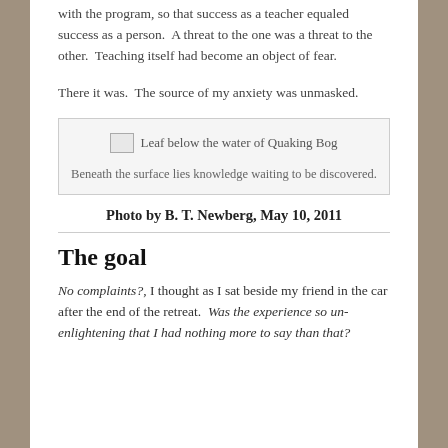with the program, so that success as a teacher equaled success as a person.  A threat to the one was a threat to the other.  Teaching itself had become an object of fear.
There it was.  The source of my anxiety was unmasked.
[Figure (photo): Image placeholder showing 'Leaf below the water of Quaking Bog']
Beneath the surface lies knowledge waiting to be discovered.
Photo by B. T. Newberg, May 10, 2011
The goal
No complaints?, I thought as I sat beside my friend in the car after the end of the retreat.  Was the experience so un-enlightening that I had nothing more to say than that?